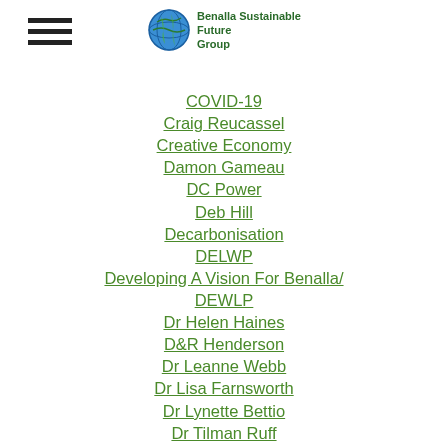Benalla Sustainable Future Group
COVID-19
Craig Reucassel
Creative Economy
Damon Gameau
DC Power
Deb Hill
Decarbonisation
DELWP
Developing A Vision For Benalla/ DEWLP
Dr Helen Haines
D&R Henderson
Dr Leanne Webb
Dr Lisa Farnsworth
Dr Lynette Bettio
Dr Tilman Ruff
'Ecoportal'
Elections
Electric Vehicles
Emissions Reduction
Energy Audit
Energy Efficiency
Ensign